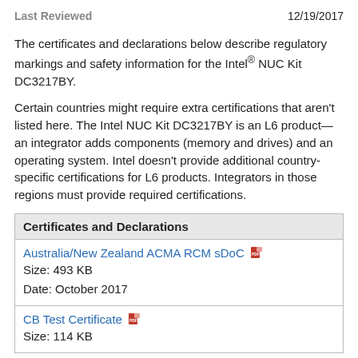Last Reviewed    12/19/2017
The certificates and declarations below describe regulatory markings and safety information for the Intel® NUC Kit DC3217BY.
Certain countries might require extra certifications that aren't listed here. The Intel NUC Kit DC3217BY is an L6 product—an integrator adds components (memory and drives) and an operating system. Intel doesn't provide additional country-specific certifications for L6 products. Integrators in those regions must provide required certifications.
| Certificates and Declarations |
| --- |
| Australia/New Zealand ACMA RCM sDoC [PDF icon]
Size: 493 KB
Date: October 2017 |
| CB Test Certificate [PDF icon]
Size: 114 KB |